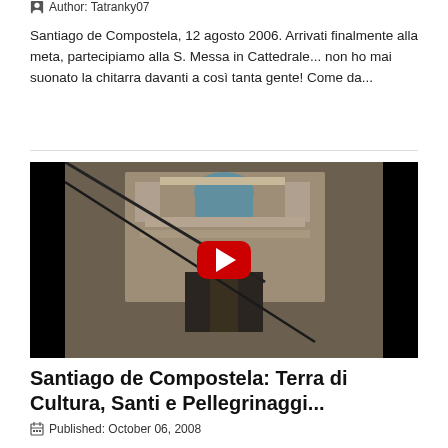Author: Tatranky07
Santiago de Compostela, 12 agosto 2006. Arrivati finalmente alla meta, partecipiamo alla S. Messa in Cattedrale... non ho mai suonato la chitarra davanti a così tanta gente! Come da...
[Figure (screenshot): Video thumbnail showing a Gothic cathedral facade (Santiago de Compostela) with a statue in the foreground, displayed with a YouTube-style red play button in the center on a black background.]
Santiago de Compostela: Terra di Cultura, Santi e Pellegrinaggi...
Published: October 06, 2008